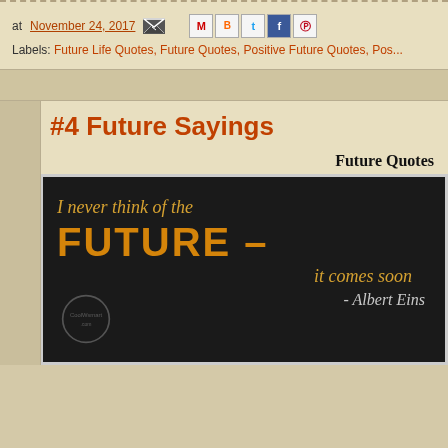at November 24, 2017
Labels: Future Life Quotes, Future Quotes, Positive Future Quotes, Pos...
#4 Future Sayings
Future Quotes
[Figure (photo): Dark textured background with quote text: 'I never think of the FUTURE – it comes soon - Albert Eins[tein]' in orange and light colors]